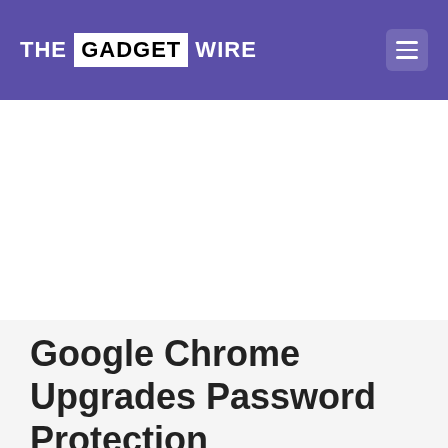THE GADGET WIRE
Google Chrome Upgrades Password Protection